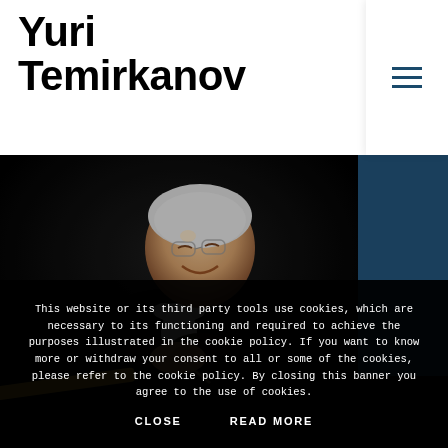Yuri Temirkanov
[Figure (photo): Conductor Yuri Temirkanov in formal black tails with white bow tie, eyes closed, smiling, hands clasped with baton, performing on stage against dark background]
This website or its third party tools use cookies, which are necessary to its functioning and required to achieve the purposes illustrated in the cookie policy. If you want to know more or withdraw your consent to all or some of the cookies, please refer to the cookie policy. By closing this banner you agree to the use of cookies.
CLOSE     READ MORE